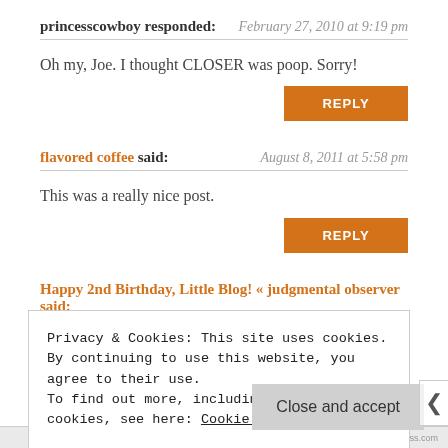princesscowboy responded:   February 27, 2010 at 9:19 pm
Oh my, Joe. I thought CLOSER was poop. Sorry!
REPLY
flavored coffee said:   August 8, 2011 at 5:58 pm
This was a really nice post.
REPLY
Happy 2nd Birthday, Little Blog! « judgmental observer said:   August 16, 2011 at 11:47 am
Privacy & Cookies: This site uses cookies. By continuing to use this website, you agree to their use.
To find out more, including how to control cookies, see here: Cookie Policy
Close and accept